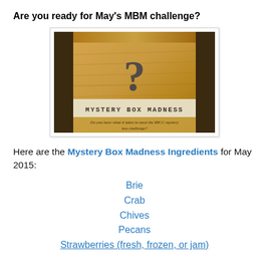Are you ready for May's MBM challenge?
[Figure (photo): A wooden box with a question mark printed on it, labeled 'MYSTERY BOX MADNESS'. Below the label text reads: 'Do you have what it takes to meet the IHCC mystery box challenge?']
Here are the Mystery Box Madness Ingredients for May 2015:
Brie
Crab
Chives
Pecans
Strawberries (fresh, frozen, or jam)